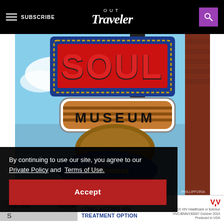SUBSCRIBE | OUT Traveler
[Figure (photo): Soul Museum sign with Smithsonian association oval, against a blue sky with brick wall on the right]
By continuing to use our site, you agree to our Private Policy and Terms of Use.
Accept
[Figure (other): Advertisement: LEARN ABOUT A LONG-ACTING HIV TREATMENT OPTION - ViiV Healthcare 2019]
You ma... Beale Street...